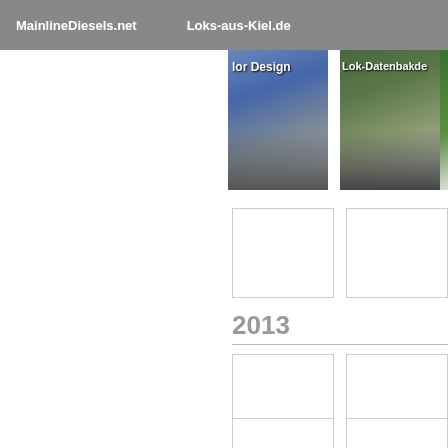MainlineDiesels.net   Loks-aus-Kiel.de
[Figure (photo): Photo strip showing locomotives with labels 'lor Design' and 'Lok-Datenbat de', partially cropped]
[Figure (photo): Two blank/white thumbnail image placeholders in a grid row]
2013
[Figure (photo): Three blank/white thumbnail image placeholders in a grid row under 2013]
[Figure (photo): Three blank/white thumbnail image placeholders in a second grid row under 2013]
[Figure (photo): Two blank/white thumbnail image placeholders in a third grid row under 2013]